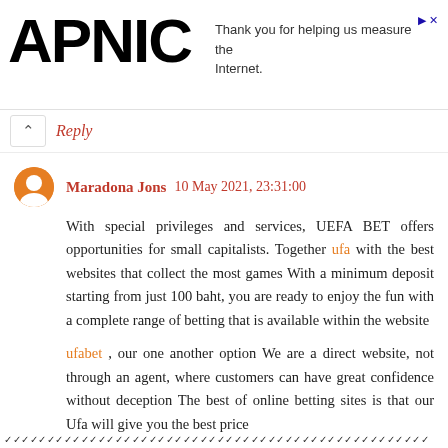APNIC — Thank you for helping us measure the Internet.
Reply
Maradona Jons 10 May 2021, 23:31:00
With special privileges and services, UEFA BET offers opportunities for small capitalists. Together ufa with the best websites that collect the most games With a minimum deposit starting from just 100 baht, you are ready to enjoy the fun with a complete range of betting that is available within the website

ufabet , our one another option We are a direct website, not through an agent, where customers can have great confidence without deception The best of online betting sites is that our Ufa will give you the best price